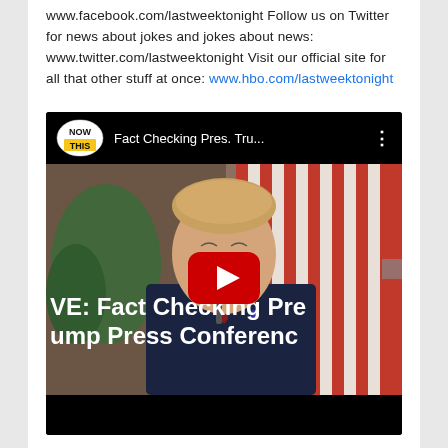www.facebook.com/lastweektonight Follow us on Twitter for news about jokes and jokes about news: www.twitter.com/lastweektonight Visit our official site for all that other stuff at once: www.hbo.com/lastweektonight
[Figure (screenshot): YouTube video embed thumbnail showing a man speaking at a podium in front of American flags, with the NowThis logo and title 'Fact Checking Pres. Tru...' in the top bar, a red YouTube play button overlay in the center, and overlaid text reading 'VE: Fact Checking Pre ump Press Conferenc' at the bottom of the video frame.]